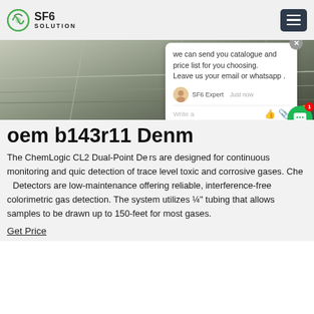SF6 SOLUTION
[Figure (screenshot): Hero banner image showing industrial/construction surface with concrete lines, overlaid with orange 'SF6China' text and a chat popup widget]
oem b143r11 Denm
The ChemLogic CL2 Dual-Point Detectors are designed for continuous monitoring and quick detection of trace level toxic and corrosive gases. ChemLogic Dual-Point Detectors are low-maintenance offering reliable, interference-free colorimetric gas detection. The system utilizes ¼" tubing that allows samples to be drawn up to 150-feet for most gases.
Get Price